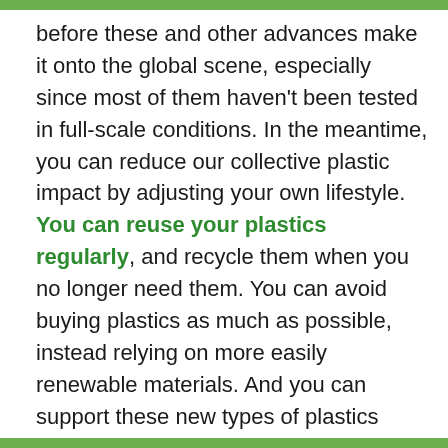before these and other advances make it onto the global scene, especially since most of them haven't been tested in full-scale conditions. In the meantime, you can reduce our collective plastic impact by adjusting your own lifestyle. You can reuse your plastics regularly, and recycle them when you no longer need them. You can avoid buying plastics as much as possible, instead relying on more easily renewable materials. And you can support these new types of plastics when they start to emerge on the market.